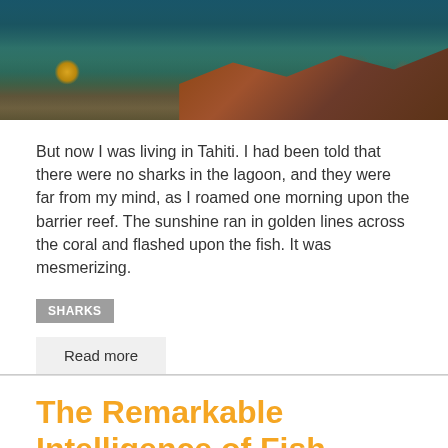[Figure (photo): Underwater coral reef scene with tropical fish and colorful coral formations]
But now I was living in Tahiti. I had been told that there were no sharks in the lagoon, and they were far from my mind, as I roamed one morning upon the barrier reef. The sunshine ran in golden lines across the coral and flashed upon the fish. It was mesmerizing.
SHARKS
Read more
The Remarkable Intelligence of Fish
October 02, 2018 - 15:07
The story is found: on page 75
Fish reveal such complex thinking in their daily lives